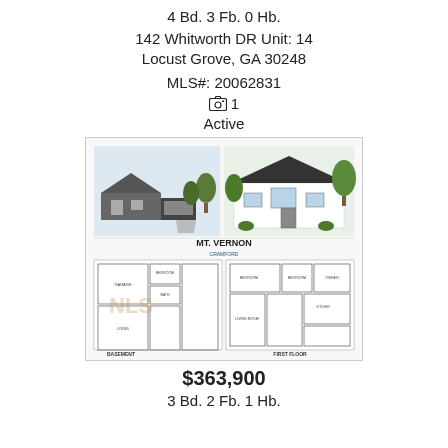4 Bd. 3 Fb. 0 Hb.
142 Whitworth DR Unit: 14
Locust Grove, GA 30248
MLS#: 20062831
1
Active
[Figure (photo): House rendering and floor plan showing MT. VERNON model with basement and first floor layouts]
$363,900
3 Bd. 2 Fb. 1 Hb.